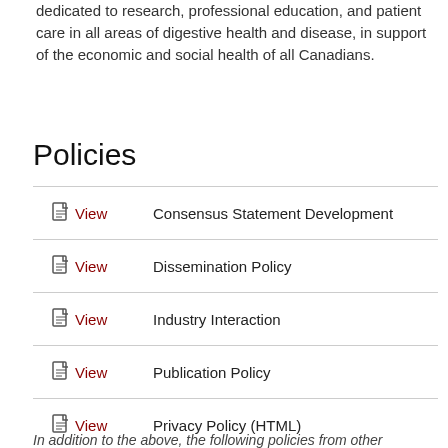dedicated to research, professional education, and patient care in all areas of digestive health and disease, in support of the economic and social health of all Canadians.
Policies
View  Consensus Statement Development
View  Dissemination Policy
View  Industry Interaction
View  Publication Policy
View  Privacy Policy (HTML)
In addition to the above, the following policies from other